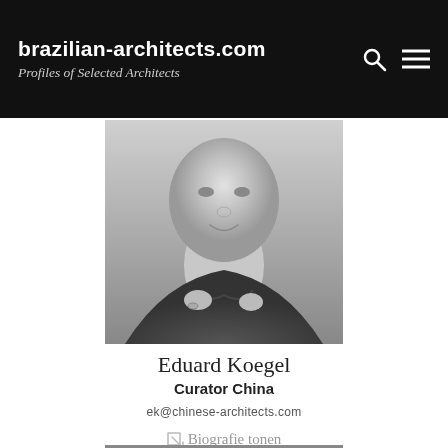brazilian-architects.com
Profiles of Selected Architects
[Figure (photo): Black and white portrait photo of Eduard Koegel, showing his face and upper torso, wearing a dark shirt, hands near collar, smiling slightly.]
Eduard Koegel
Curator China
ek@chinese-architects.com
↘ Biografie tonen
[Figure (photo): Bottom edge of another portrait photo, partially visible, black and white.]